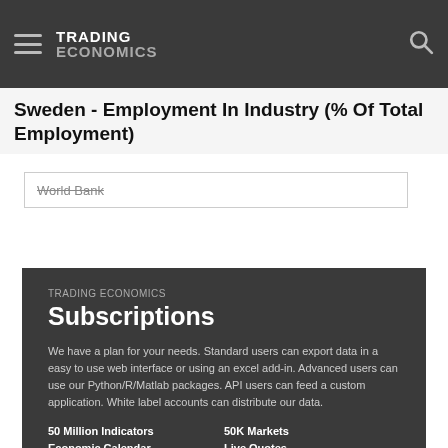TRADING ECONOMICS
Sweden - Employment In Industry (% Of Total Employment)
World Bank
TRADING ECONOMICS Subscriptions
We have a plan for your needs. Standard users can export data in a easy to use web interface or using an excel add-in. Advanced users can use our Python/R/Matlab packages. API users can feed a custom application. White label accounts can distribute our data.
50 Million Indicators   50K Markets
Economic Calendar   Live Quotes